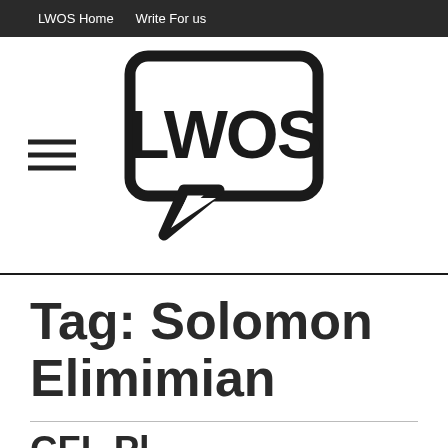LWOS Home   Write For us
[Figure (logo): LWOS logo: speech bubble containing bold text 'LWOS' with hamburger menu icon to the left]
Tag: Solomon Elimimian
CFL Pl...